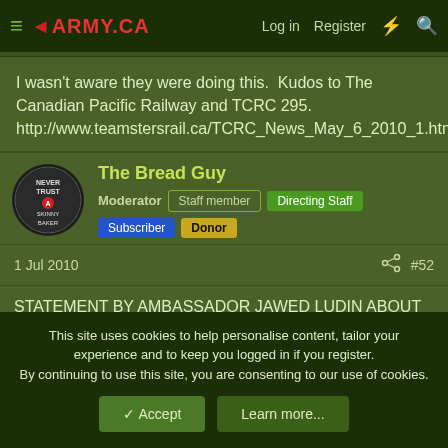◄ARMY.CA | Log in | Register
I wasn't aware they were doing this.  Kudos to The Canadian Pacific Railway and TCRC 295.
http://www.teamstersrail.ca/TCRC_News_May_6_2010_1.htm
The Bread Guy
Moderator  Staff member  Directing Staff  Subscriber  Donor
1 Jul 2010  #52
STATEMENT BY AMBASSADOR JAWED LUDIN ABOUT THE DEATH OF Mcpl. Kristal Giesebrecht and Pte. Andrew Miller
June 29, 2010
This site uses cookies to help personalise content, tailor your experience and to keep you logged in if you register.
By continuing to use this site, you are consenting to our use of cookies.
Accept  Learn more...